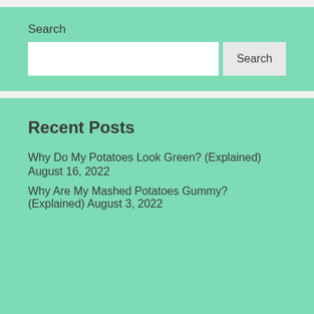Search
Search
Recent Posts
Why Do My Potatoes Look Green? (Explained) August 16, 2022
Why Are My Mashed Potatoes Gummy? (Explained) August 3, 2022